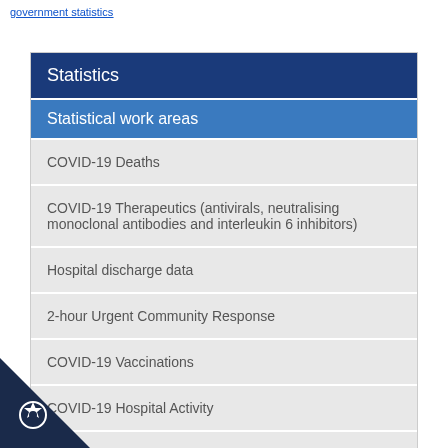government statistics
Statistics
Statistical work areas
COVID-19 Deaths
COVID-19 Therapeutics (antivirals, neutralising monoclonal antibodies and interleukin 6 inhibitors)
Hospital discharge data
2-hour Urgent Community Response
COVID-19 Vaccinations
COVID-19 Hospital Activity
COVID-19 Post-Covid Assessment Service
A&E Attendances and Emergency Admissions